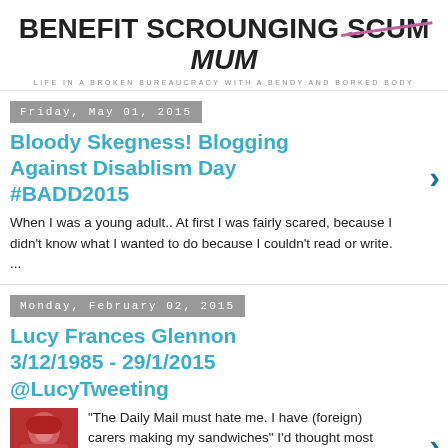BENEFIT SCROUNGING SCUM MUM
LIFE IN A BROKEN BUREAUCRACY WITH A BENDY AND BORKED BODY
Friday, May 01, 2015
Bloody Skegness! Blogging Against Disablism Day #BADD2015
When I was a young adult.. At first I was fairly scared, because I didn't know what I wanted to do because I couldn't read or write. ...
Monday, February 02, 2015
Lucy Frances Glennon 3/12/1985 - 29/1/2015 @LucyTweeting
“The Daily Mail must hate me. I have (foreign) carers making my sandwiches” I’d thought most